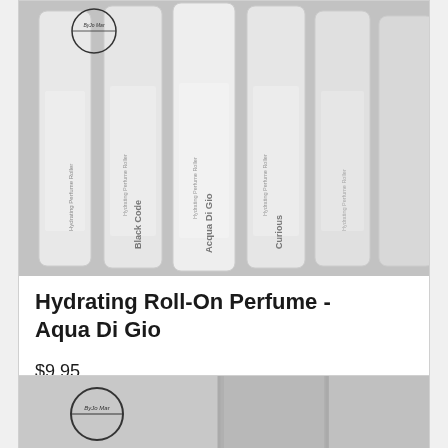[Figure (photo): A row of white roll-on perfume bottles with labels including 'Black Code', 'Acqua Di Gio', and 'Curious', with a circular brand logo visible on the left. The bottles are labeled 'Hydrating Perfume Roller'.]
Hydrating Roll-On Perfume - Aqua Di Gio
$9.95
[Figure (photo): Partial view of a second product card showing a brand logo circle and gray product packaging, cropped at the bottom of the page.]